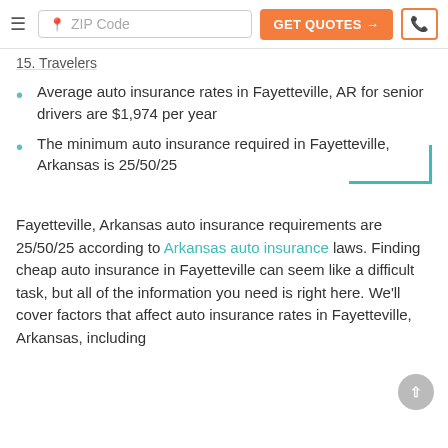ZIP Code | GET QUOTES → | [phone icon]
15. Travelers
Average auto insurance rates in Fayetteville, AR for senior drivers are $1,974 per year
The minimum auto insurance required in Fayetteville, Arkansas is 25/50/25
Fayetteville, Arkansas auto insurance requirements are 25/50/25 according to Arkansas auto insurance laws. Finding cheap auto insurance in Fayetteville can seem like a difficult task, but all of the information you need is right here. We'll cover factors that affect auto insurance rates in Fayetteville, Arkansas, including